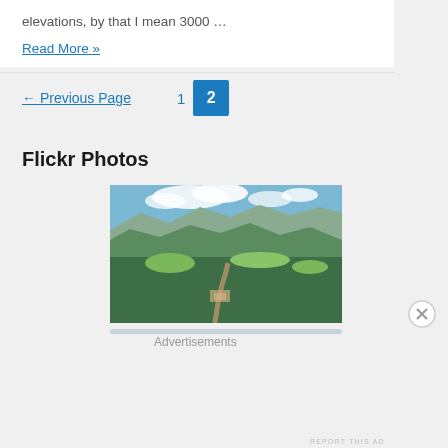elevations, by that I mean 3000 …
Read More »
← Previous Page   1   2
Flickr Photos
[Figure (photo): Aerial photograph of a green forested landscape with fields, a river valley, mountains in the background, and a blue sky with clouds.]
Advertisements